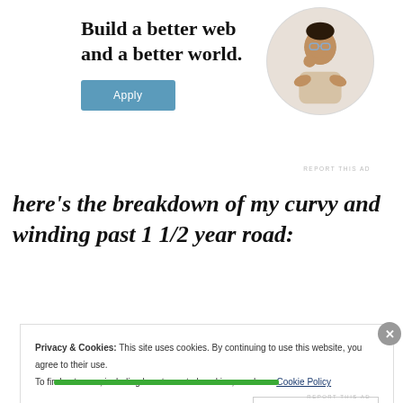[Figure (illustration): Web Foundation job advertisement with bold text 'Build a better web and a better world.' alongside a round photo of a man thinking at a desk, and a blue 'Apply' button.]
REPORT THIS AD
here's the breakdown of my curvy and winding past 1 1/2 year road:
Privacy & Cookies: This site uses cookies. By continuing to use this website, you agree to their use.
To find out more, including how to control cookies, see here: Cookie Policy
Close and accept